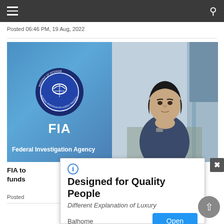Navigation bar with hamburger menu and search icon
Posted 06:46 PM, 19 Aug, 2022
[Figure (photo): Split image showing FIA (Federal Investigation Agency Pakistan) logo on blue background on left, and a man in dark clothing sitting thoughtfully at a desk on right]
FIA to... investigation to... finances... prohibited funds...
Posted...
[Figure (screenshot): Advertisement popup overlay with info icon, title 'Designed for Quality People', subtitle 'Different Explanation of Luxury', brand 'Balhome', and blue 'Open' button. Has X close button on top right.]